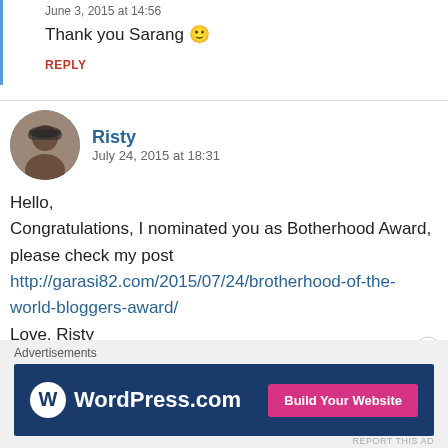June 3, 2015 at 14:56
Thank you Sarang 🙂
REPLY
Risty
July 24, 2015 at 18:31
Hello,
Congratulations, I nominated you as Botherhood Award, please check my post http://garasi82.com/2015/07/24/brotherhood-of-the-world-bloggers-award/
Love, Risty
REPLY
Advertisements
[Figure (screenshot): WordPress.com advertisement banner with logo and 'Build Your Website' button]